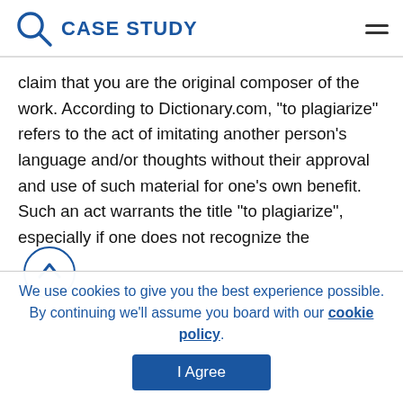CASE STUDY
claim that you are the original composer of the work. According to Dictionary.com, “to plagiarize” refers to the act of imitating another person’s language and/or thoughts without their approval and use of such material for one’s own benefit. Such an act warrants the title “to plagiarize”, especially if one does not recognize the
We use cookies to give you the best experience possible. By continuing we’ll assume you board with our cookie policy.
I Agree